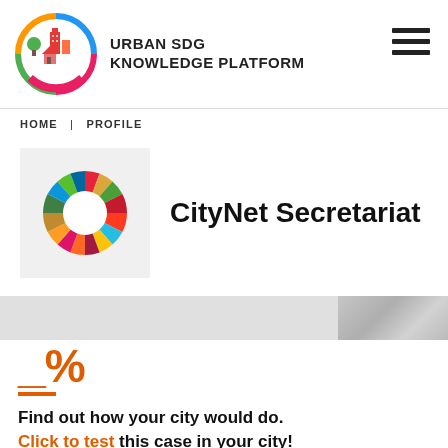[Figure (logo): Urban SDG Knowledge Platform logo with circular icon showing city buildings and trees with colorful arc]
URBAN SDG KNOWLEDGE PLATFORM
HOME | PROFILE
[Figure (logo): CityNet Secretariat SDG color wheel logo]
CityNet Secretariat
_%
Find out how your city would do.
Click to test this case in your city!